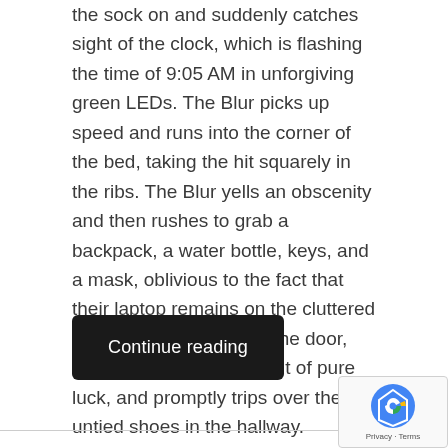the sock on and suddenly catches sight of the clock, which is flashing the time of 9:05 AM in unforgiving green LEDs. The Blur picks up speed and runs into the corner of the bed, taking the hit squarely in the ribs. The Blur yells an obscenity and then rushes to grab a backpack, a water bottle, keys, and a mask, oblivious to the fact that their laptop remains on the cluttered desk. The Blur runs out the door, remembering to lock it out of pure luck, and promptly trips over their untied shoes in the hallway.
It’s me. I’m the Blur.
Continue reading